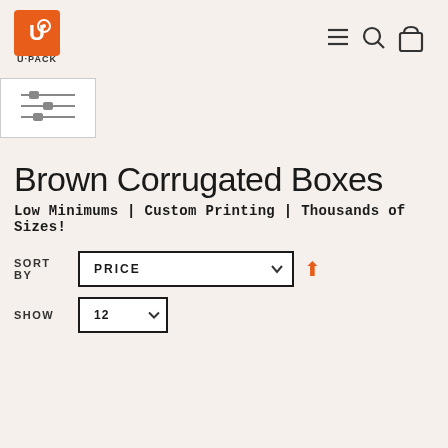[Figure (logo): U-Pack logo: orange square with white stylized U and P icon, text 'U·PACK' below]
[Figure (infographic): Navigation header icons: hamburger menu, search magnifier, shopping bag]
[Figure (infographic): Filter/sort panel icon with three horizontal sliders]
Brown Corrugated Boxes
Low Minimums | Custom Printing | Thousands of Sizes!
SORT BY  PRICE  (arrow up icon)
SHOW  12